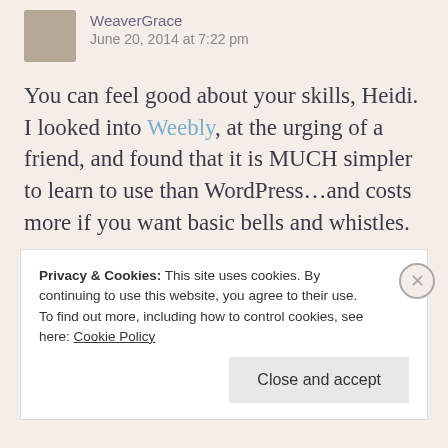WeaverGrace
June 20, 2014 at 7:22 pm
You can feel good about your skills, Heidi. I looked into Weebly, at the urging of a friend, and found that it is MUCH simpler to learn to use than WordPress…and costs more if you want basic bells and whistles.
★ Like
Privacy & Cookies: This site uses cookies. By continuing to use this website, you agree to their use.
To find out more, including how to control cookies, see here: Cookie Policy
Close and accept